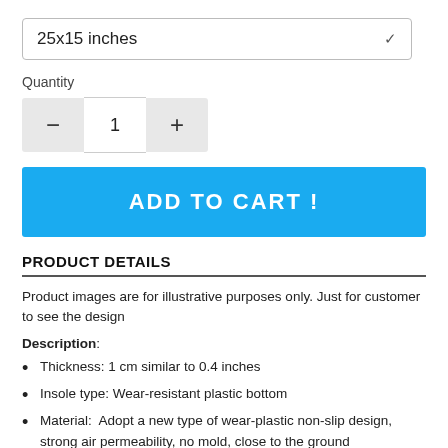25x15 inches
Quantity
1
ADD TO CART !
PRODUCT DETAILS
Product images are for illustrative purposes only. Just for customer to see the design
Description:
Thickness: 1 cm similar to 0.4 inches
Insole type: Wear-resistant plastic bottom
Material:  Adopt a new type of wear-plastic non-slip design, strong air permeability, no mold, close to the ground
Size: Small: 25 x 15 inches Medium: 30 x 18 inches Large: 35 x